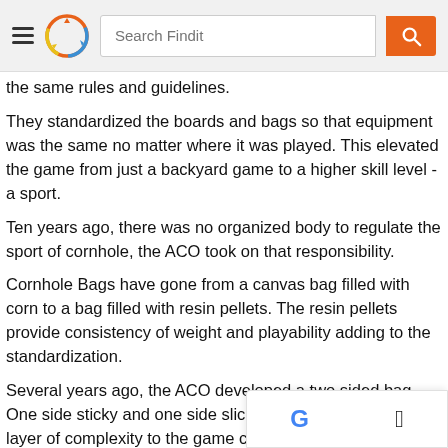Search Findit — navigation bar with hamburger menu, logo, search field, and search button
the same rules and guidelines.
They standardized the boards and bags so that equipment was the same no matter where it was played. This elevated the game from just a backyard game to a higher skill level - a sport.
Ten years ago, there was no organized body to regulate the sport of cornhole, the ACO took on that responsibility.
Cornhole Bags have gone from a canvas bag filled with corn to a bag filled with resin pellets. The resin pellets provide consistency of weight and playability adding to the standardization.
Several years ago, the ACO developed a two sided bag. One side sticky and one side slick. These bags added a layer of complexity to the game creating more types of shots and planning in the game.
This entry uses CCBY for publishing. See our Sources...